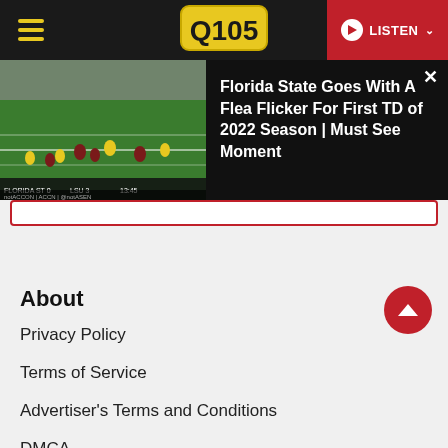Q105 — LISTEN
[Figure (screenshot): Football game screenshot from ACCN showing Florida State vs LSU play]
Florida State Goes With A Flea Flicker For First TD of 2022 Season | Must See Moment
About
Privacy Policy
Terms of Service
Advertiser's Terms and Conditions
DMCA
FCC Public File